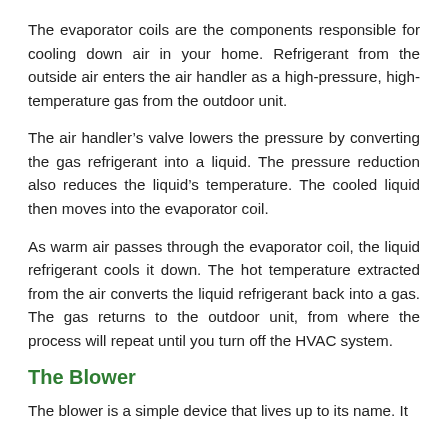The evaporator coils are the components responsible for cooling down air in your home. Refrigerant from the outside air enters the air handler as a high-pressure, high-temperature gas from the outdoor unit.
The air handler's valve lowers the pressure by converting the gas refrigerant into a liquid. The pressure reduction also reduces the liquid's temperature. The cooled liquid then moves into the evaporator coil.
As warm air passes through the evaporator coil, the liquid refrigerant cools it down. The hot temperature extracted from the air converts the liquid refrigerant back into a gas. The gas returns to the outdoor unit, from where the process will repeat until you turn off the HVAC system.
The Blower
The blower is a simple device that lives up to its name. It